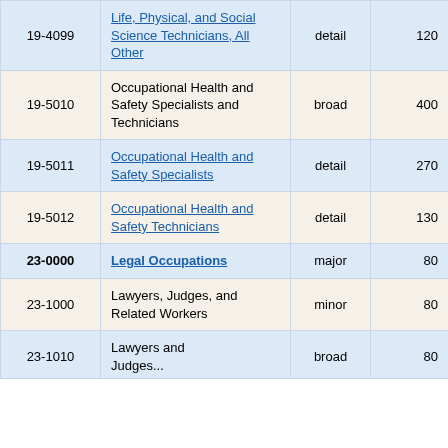| Code | Occupation | Level | Num | Pct |
| --- | --- | --- | --- | --- |
| 19-4099 | Life, Physical, and Social Science Technicians, All Other | detail | 120 | 20.6% |
| 19-5010 | Occupational Health and Safety Specialists and Technicians | broad | 400 | 4.4% |
| 19-5011 | Occupational Health and Safety Specialists | detail | 270 | 5.6% |
| 19-5012 | Occupational Health and Safety Technicians | detail | 130 | 7.0% |
| 23-0000 | Legal Occupations | major | 80 | 15.6% |
| 23-1000 | Lawyers, Judges, and Related Workers | minor | 80 | 15.9% |
| 23-1010 | Lawyers and ... | broad | 80 | 15.8% |